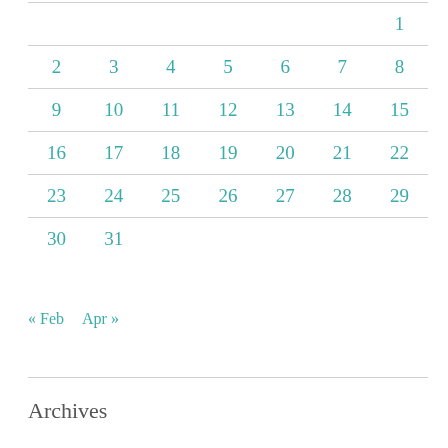|  |  |  |  |  |  |  |
| --- | --- | --- | --- | --- | --- | --- |
|  |  |  |  |  |  | 1 |
| 2 | 3 | 4 | 5 | 6 | 7 | 8 |
| 9 | 10 | 11 | 12 | 13 | 14 | 15 |
| 16 | 17 | 18 | 19 | 20 | 21 | 22 |
| 23 | 24 | 25 | 26 | 27 | 28 | 29 |
| 30 | 31 |  |  |  |  |  |
« Feb   Apr »
Archives